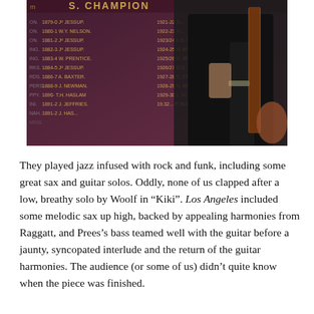[Figure (photo): A person in a dark shirt holding a guitar neck, standing in front of a dark wall bearing a champions board with names and years listed in gold lettering, including 'S. CHAMPION' visible at the top and various names like J. JESSUP, W.Y. NELSON, W. PRENTICE, A. BAXTER, J. NEWMAN, T.H. HASLAM, with years ranging from 1879 to the 1950s.]
They played jazz infused with rock and funk, including some great sax and guitar solos. Oddly, none of us clapped after a low, breathy solo by Woolf in “Kiki”. Los Angeles included some melodic sax up high, backed by appealing harmonies from Raggatt, and Prees’s bass teamed well with the guitar before a jaunty, syncopated interlude and the return of the guitar harmonies. The audience (or some of us) didn’t quite know when the piece was finished.